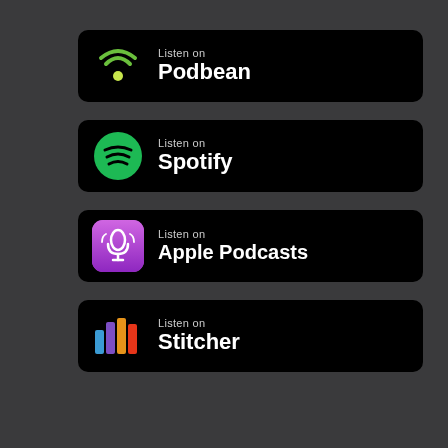[Figure (logo): Listen on Podbean badge - black rounded rectangle with Podbean wifi/signal icon in green and white, text 'Listen on Podbean']
[Figure (logo): Listen on Spotify badge - black rounded rectangle with Spotify circular logo in green, text 'Listen on Spotify']
[Figure (logo): Listen on Apple Podcasts badge - black rounded rectangle with Apple Podcasts purple icon, text 'Listen on Apple Podcasts']
[Figure (logo): Listen on Stitcher badge - black rounded rectangle with Stitcher colorful bar chart icon, text 'Listen on Stitcher']